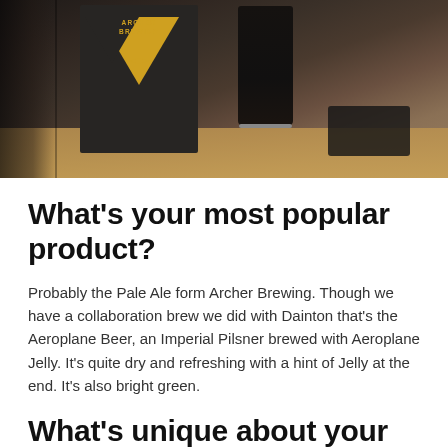[Figure (photo): Photo of Archer Brewing menu/coaster on a wooden table with a dark beer glass, showing the Archer Brewing yellow triangle logo with airplane icon]
What's your most popular product?
Probably the Pale Ale form Archer Brewing. Though we have a collaboration brew we did with Dainton that's the Aeroplane Beer, an Imperial Pilsner brewed with Aeroplane Jelly. It's quite dry and refreshing with a hint of Jelly at the end. It's also bright green.
What's unique about your